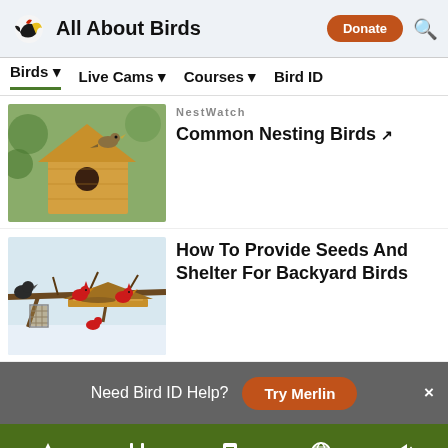All About Birds
[Figure (screenshot): Navigation bar with Birds, Live Cams, Courses, Bird ID menu items]
[Figure (photo): Small bird perched on a wooden birdhouse]
NestWatch
Common Nesting Birds
[Figure (photo): Red cardinals and other birds at a bird feeder in winter snow]
How To Provide Seeds And Shelter For Backyard Birds
Need Bird ID Help? Try Merlin
Overview | ID info | Life History | Maps | Sounds